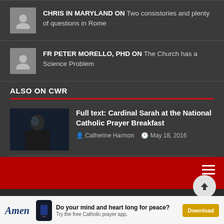CHRIS IN MARYLAND ON Two consistories and plenty of questions in Rome
FR PETER MORELLO, PHD ON The Church has a Science Problem
ALSO ON CWR
[Figure (photo): Photo of Cardinal Sarah speaking at a podium, dark background]
Full text: Cardinal Sarah at the National Catholic Prayer Breakfast
Catherine Harmon   May 18, 2016
[Figure (screenshot): Red footer bar with hamburger menu icon and scroll-up button]
[Figure (screenshot): Amen app advertisement bar at the bottom of the page]